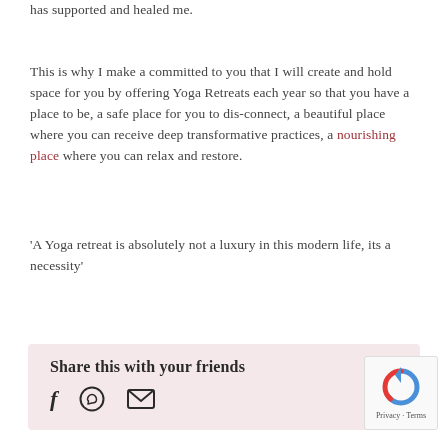has supported and healed me.
This is why I make a committed to you that I will create and hold space for you by offering Yoga Retreats each year so that you have a place to be, a safe place for you to dis-connect, a beautiful place where you can receive deep transformative practices, a nourishing place where you can relax and restore.
‘A Yoga retreat is absolutely not a luxury in this modern life, its a necessity’
Share this with your friends